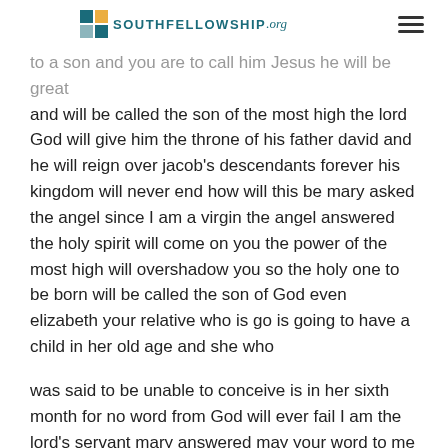SOUTHFELLOWSHIP.org
to a son and you are to call him Jesus he will be great and will be called the son of the most high the lord God will give him the throne of his father david and he will reign over jacob's descendants forever his kingdom will never end how will this be mary asked the angel since I am a virgin the angel answered the holy spirit will come on you the power of the most high will overshadow you so the holy one to be born will be called the son of God even elizabeth your relative who is go is going to have a child in her old age and she who
was said to be unable to conceive is in her sixth month for no word from God will ever fail I am the lord's servant mary answered may your word to me be fulfilled then the angel left her and we're going to